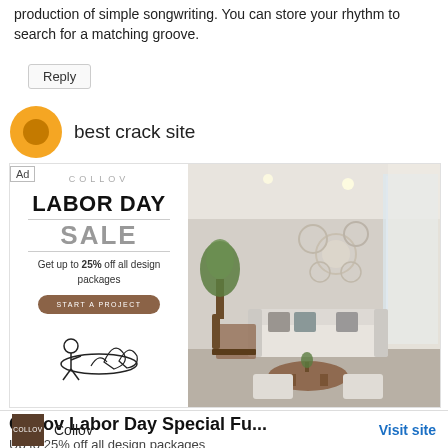production of simple songwriting. You can store your rhythm to search for a matching groove.
Reply
best crack site
[Figure (infographic): COLLOV advertisement banner with 'LABOR DAY SALE' text, Get up to 25% off all design packages, START A PROJECT button, illustration of person relaxing, and a photo of a living room with sofa, chairs, plants, and wall decor.]
Collov Labor Day Special Fu...
Up to 25% off all design packages
Collov
Visit site